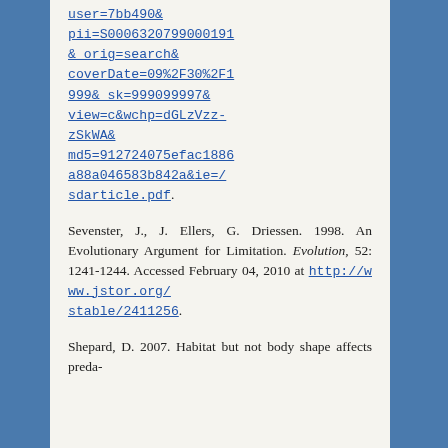user=7bb490& pii=S0006320799000191& orig=search& coverDate=09%2F30%2F1999& sk=999099997& view=c&wchp=dGLzVzz-zSkWA& md5=912724075efac1886a88a046583b842a&ie=/sdarticle.pdf.
Sevenster, J., J. Ellers, G. Driessen. 1998. An Evolutionary Argument for Limitation. Evolution, 52: 1241-1244. Accessed February 04, 2010 at http://www.jstor.org/stable/2411256.
Shepard, D. 2007. Habitat but not body shape affects preda-